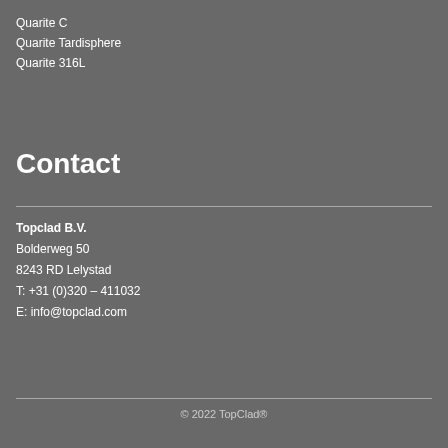Quarite C
Quarite Tardisphere
Quarite 316L
Contact
Topclad B.V.
Bolderweg 50
8243 RD Lelystad
T: +31 (0)320 – 411032
E: info@topclad.com
© 2022 TopClad®